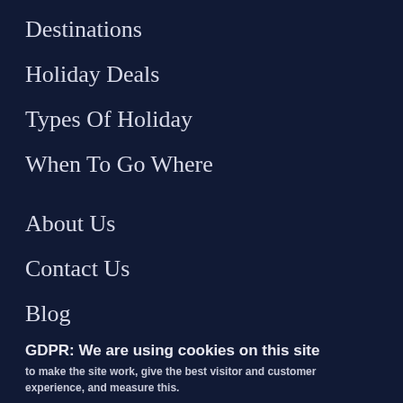Destinations
Holiday Deals
Types Of Holiday
When To Go Where
About Us
Contact Us
Blog
GDPR: We are using cookies on this site
to make the site work, give the best visitor and customer experience, and measure this.
OK, I agree
Tell me more
Delete all cookies and leave the site